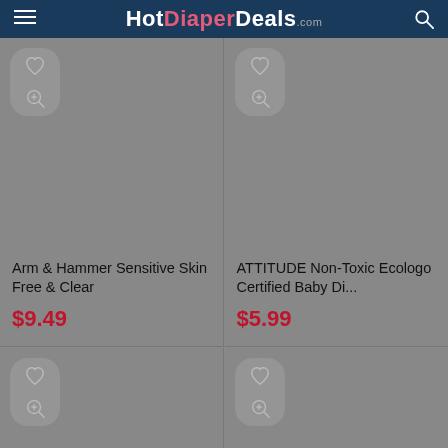HotDiaperDeals.com
[Figure (screenshot): Product image area for Arm & Hammer with heart and zoom icons]
Arm & Hammer Sensitive Skin Free & Clear
$9.49
[Figure (screenshot): Product image area for ATTITUDE Non-Toxic Ecologo with heart and zoom icons]
ATTITUDE Non-Toxic Ecologo Certified Baby Di...
$5.99
[Figure (screenshot): Partial product cell bottom left with heart and zoom icons]
[Figure (screenshot): Partial product cell bottom right with heart and zoom icons]